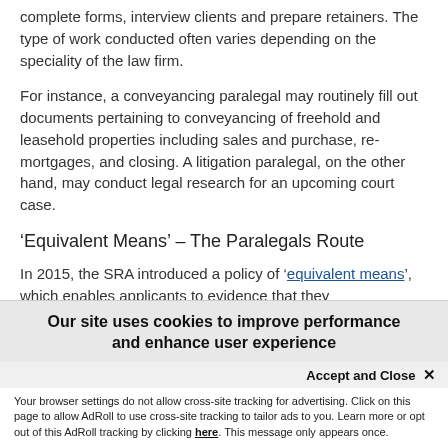complete forms, interview clients and prepare retainers. The type of work conducted often varies depending on the speciality of the law firm.
For instance, a conveyancing paralegal may routinely fill out documents pertaining to conveyancing of freehold and leasehold properties including sales and purchase, re-mortgages, and closing. A litigation paralegal, on the other hand, may conduct legal research for an upcoming court case.
‘Equivalent Means’ – The Paralegals Route
In 2015, the SRA introduced a policy of ‘equivalent means’, which enables applicants to evidence that they
Our site uses cookies to improve performance and enhance user experience
Accept and Close ×
Your browser settings do not allow cross-site tracking for advertising. Click on this page to allow AdRoll to use cross-site tracking to tailor ads to you. Learn more or opt out of this AdRoll tracking by clicking here. This message only appears once.